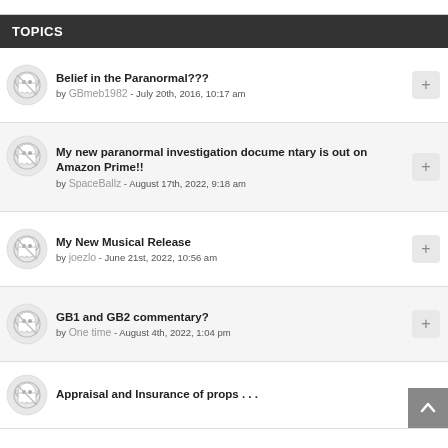TOPICS
Belief in the Paranormal??? by GBmeb1982 - July 20th, 2016, 10:17 am
My new paranormal investigation documentary is out on Amazon Prime!! by SpaceBallz - August 17th, 2022, 9:18 am
My New Musical Release by joezlo - June 21st, 2022, 10:56 am
GB1 and GB2 commentary? by One time - August 4th, 2022, 1:04 pm
Appraisal and Insurance of props . . .